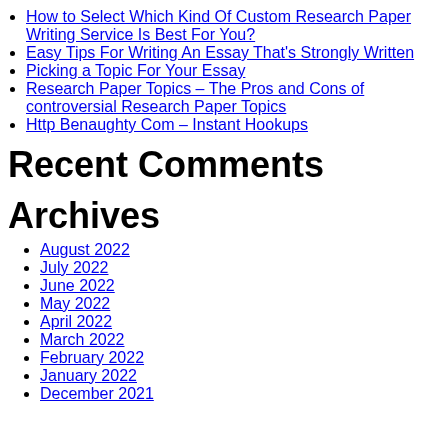How to Select Which Kind Of Custom Research Paper Writing Service Is Best For You?
Easy Tips For Writing An Essay That's Strongly Written
Picking a Topic For Your Essay
Research Paper Topics – The Pros and Cons of controversial Research Paper Topics
Http Benaughty Com – Instant Hookups
Recent Comments
Archives
August 2022
July 2022
June 2022
May 2022
April 2022
March 2022
February 2022
January 2022
December 2021